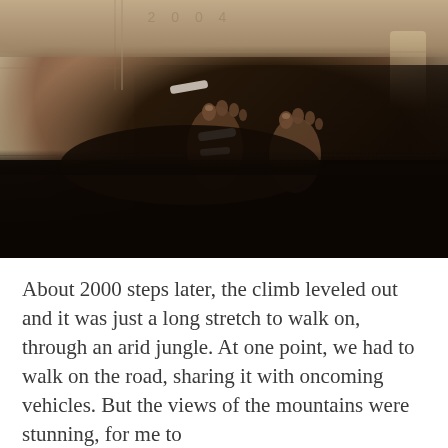[Figure (photo): Top-down view of a person's feet on stone/granite steps or floor. The left foot wears a white sandal/flip-flop, the right foot appears bare. The person is wearing dark (black or brown) clothing visible at the bottom of the frame. The stone surface has a reddish-brown granite texture with natural lines and cracks. A dramatic dark shadow falls diagonally across the scene. The lighting creates a high-contrast moody atmosphere.]
About 2000 steps later, the climb leveled out and it was just a long stretch to walk on, through an arid jungle. At one point, we had to walk on the road, sharing it with oncoming vehicles. But the views of the mountains were stunning, for me to collect the income to the medical to